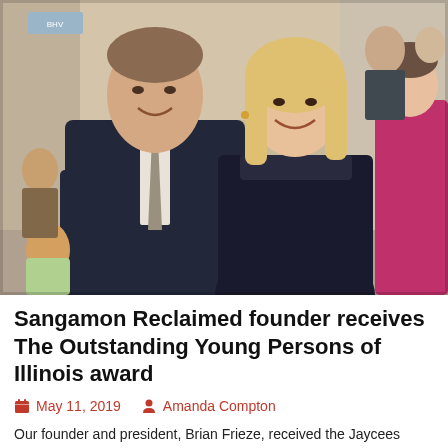[Figure (photo): Two people posing together at a formal event. On the left, a man in a dark suit with a grey tie. On the right, a blonde woman in a black dress. Other people visible in background.]
Sangamon Reclaimed founder receives The Outstanding Young Persons of Illinois award
May 11, 2019   Amanda Compton
Our founder and president, Brian Frieze, received the Jaycees